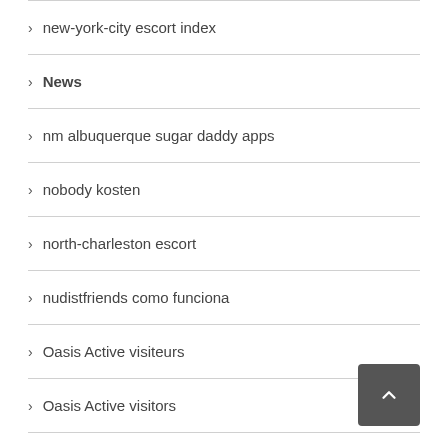new-york-city escort index
News
nm albuquerque sugar daddy apps
nobody kosten
north-charleston escort
nudistfriends como funciona
Oasis Active visiteurs
Oasis Active visitors